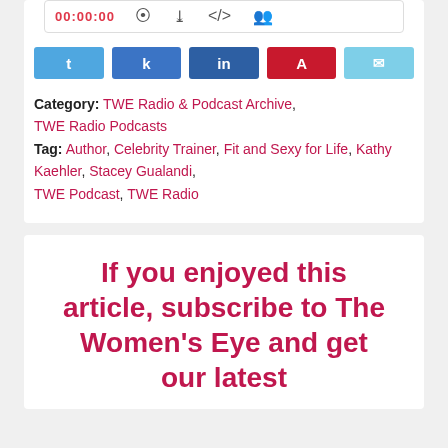00:00:00
Share buttons: Twitter, Facebook, LinkedIn, Pinterest, Email
Category: TWE Radio & Podcast Archive, TWE Radio Podcasts
Tag: Author, Celebrity Trainer, Fit and Sexy for Life, Kathy Kaehler, Stacey Gualandi, TWE Podcast, TWE Radio
If you enjoyed this article, subscribe to The Women's Eye and get our latest